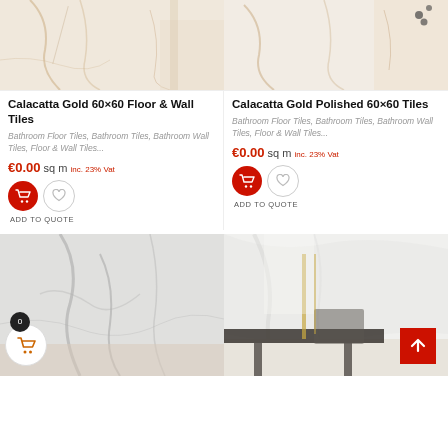[Figure (photo): Calacatta gold marble floor and wall tiles in a luxury bathroom setting, warm beige tones]
[Figure (photo): Calacatta gold polished tiles in a modern interior with shelving, warm marble tones]
Calacatta Gold 60×60 Floor & Wall Tiles
Calacatta Gold Polished 60×60 Tiles
Bathroom Floor Tiles, Bathroom Tiles, Bathroom Wall Tiles, Floor & Wall Tiles...
Bathroom Floor Tiles, Bathroom Tiles, Bathroom Wall Tiles, Floor & Wall Tiles...
€0.00 sq m inc. 23% Vat
€0.00 sq m inc. 23% Vat
ADD TO QUOTE
ADD TO QUOTE
[Figure (photo): Close-up of Calacatta white marble tiles with grey veining]
[Figure (photo): Modern living room with large format white marble wall tiles and dark furniture]